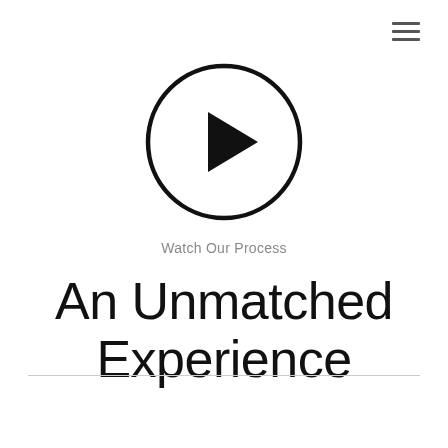[Figure (other): Hamburger menu icon (three horizontal lines) in top right corner]
[Figure (other): Play button icon: a circle with a right-pointing triangle inside]
Watch Our Process
An Unmatched Experience